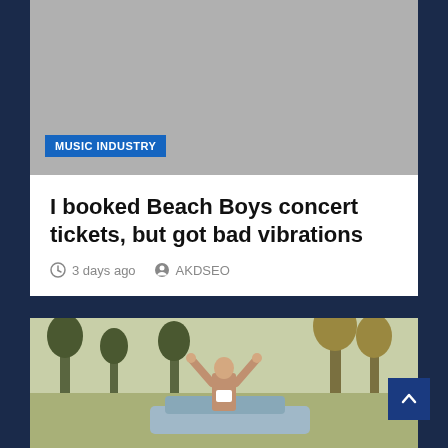[Figure (photo): Gray placeholder image area at top of page]
MUSIC INDUSTRY
I booked Beach Boys concert tickets, but got bad vibrations
3 days ago   AKDSEO
[Figure (photo): Man standing with arms raised above his head outdoors near a car, trees in background]